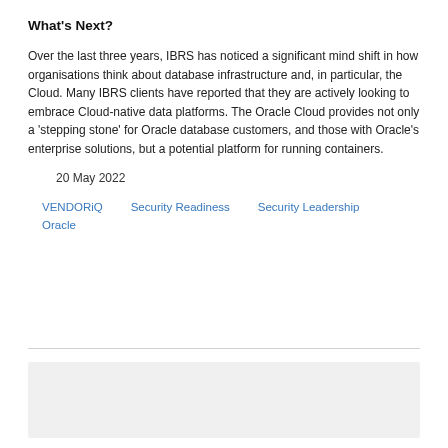What's Next?
Over the last three years, IBRS has noticed a significant mind shift in how organisations think about database infrastructure and, in particular, the Cloud. Many IBRS clients have reported that they are actively looking to embrace Cloud-native data platforms. The Oracle Cloud provides not only a 'stepping stone' for Oracle database customers, and those with Oracle's enterprise solutions, but a potential platform for running containers.
20 May 2022
VENDORiQ   Security Readiness   Security Leadership   Oracle